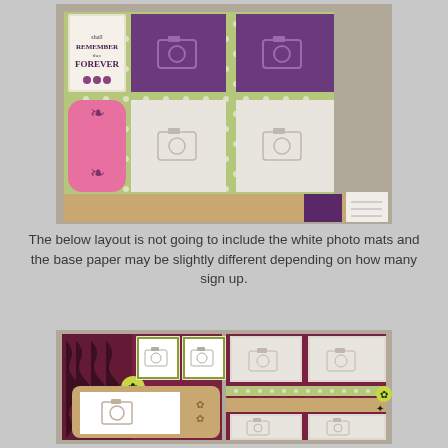[Figure (photo): Top scrapbook layout photo showing a green polka-dot patterned paper with purple, white, and pink photo mat placeholders, a decorative pink journaling card, and a kraft cardboard strip at the bottom with purple and floral accents.]
The below layout is not going to include the white photo mats and the base paper may be slightly different depending on how many sign up.
[Figure (photo): Bottom scrapbook layout photo showing a dark red/maroon patterned paper with tan/kraft photo placeholders, green-bordered small photo mats, floral decorative elements, and multiple white photo mat placeholders in various sizes.]